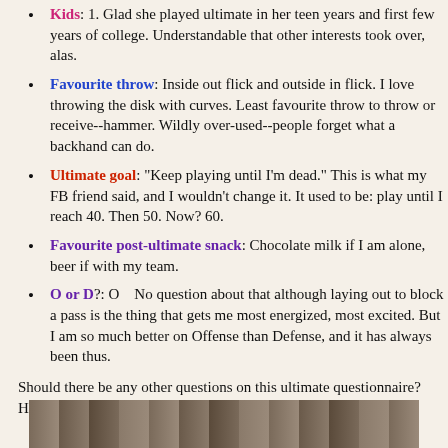Kids: 1. Glad she played ultimate in her teen years and first few years of college. Understandable that other interests took over, alas.
Favourite throw: Inside out flick and outside in flick. I love throwing the disk with curves.  Least favourite throw to throw or receive--hammer.  Wildly over-used--people forget what a backhand can do.
Ultimate goal: "Keep playing until I'm dead."  This is what my FB friend said, and I wouldn't change it.  It used to be: play until I reach 40.  Then 50.  Now?  60.
Favourite post-ultimate snack: Chocolate milk if I am alone, beer if with my team.
O or D?: O   No question about that although laying out to block a pass is the thing that gets me most energized, most excited.  But I am so much better on Offense than Defense, and it has always been thus.
Should there be any other questions on this ultimate questionnaire? Hmmm.
[Figure (photo): A horizontal strip photo at the bottom of the page, showing an outdoor scene with people, partially visible.]